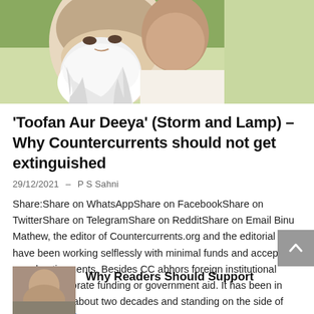[Figure (photo): Close-up photo of an elderly man with a long white beard and white clothing, outdoors with green background]
‘Toofan Aur Deeya’ (Storm and Lamp) – Why Countercurrents should not get extinguished
29/12/2021 – P S Sahni
Share:Share on WhatsAppShare on FacebookShare on TwitterShare on TelegramShare on RedditShare on Email Binu Mathew, the editor of Countercurrents.org and the editorial team have been working selflessly with minimal funds and accepting no advertisements. Besides CC abhors foreign institutional funding, corporate funding or government aid. It has been in existence for about two decades and standing on the side of [Read More...]
[Figure (photo): Small thumbnail photo of a person]
Why Readers Should Support